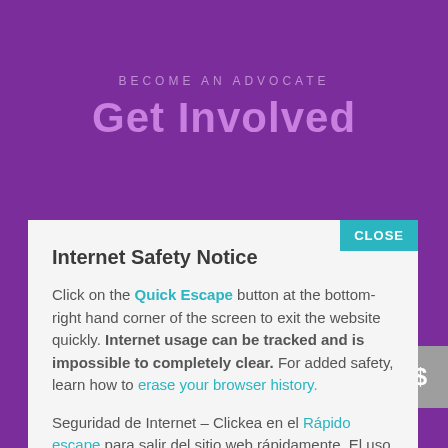BECOME AN ADVOCATE
Get Involved
CLOSE
Internet Safety Notice
Click on the Quick Escape button at the bottom-right hand corner of the screen to exit the website quickly. Internet usage can be tracked and is impossible to completely clear. For added safety, learn how to erase your browser history.
Seguridad de Internet – Clickea en el Rápido escape para salir del sitio web rápidamente. El uso de Internet puede ser rastreado. Para mayor seguridad, aprenda a borra el historial del navegador.
[Figure (illustration): Heart shape icon in muted rose/mauve color on purple background]
$